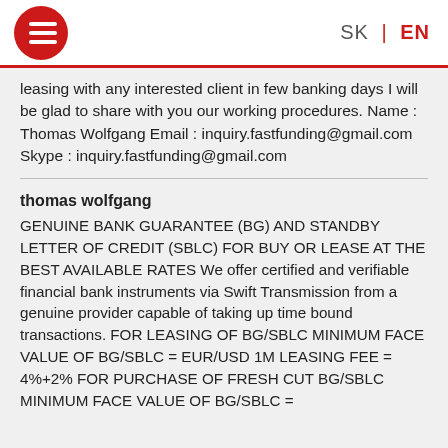SK | EN
leasing with any interested client in few banking days I will be glad to share with you our working procedures. Name : Thomas Wolfgang Email : inquiry.fastfunding@gmail.com Skype : inquiry.fastfunding@gmail.com
thomas wolfgang
GENUINE BANK GUARANTEE (BG) AND STANDBY LETTER OF CREDIT (SBLC) FOR BUY OR LEASE AT THE BEST AVAILABLE RATES We offer certified and verifiable financial bank instruments via Swift Transmission from a genuine provider capable of taking up time bound transactions. FOR LEASING OF BG/SBLC MINIMUM FACE VALUE OF BG/SBLC = EUR/USD 1M LEASING FEE = 4%+2% FOR PURCHASE OF FRESH CUT BG/SBLC MINIMUM FACE VALUE OF BG/SBLC =